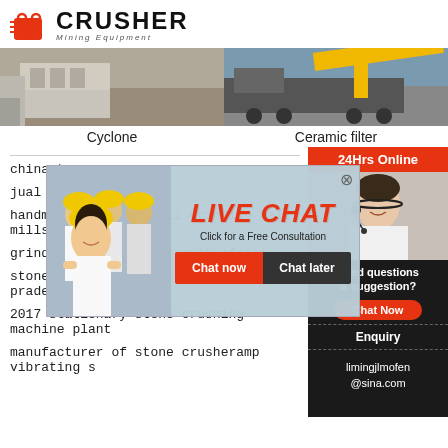[Figure (logo): CRUSHER Mining Equipment logo with red shopping bag icon]
[Figure (photo): Cyclone equipment photo - industrial building exterior]
[Figure (photo): Ceramic filter photo - yellow truck/vehicle]
Cyclone
Ceramic filter
[Figure (photo): Live Chat overlay with workers in hard hats and customer service agent on right sidebar]
chinastone u
jual centreles
handmixtures and small grinding ball mills
grinding mill kibble south africa
stone crushers project himachal pradesh
2017 stationary stone crushing machine plant
manufacturer of stone crusheramp vibrating s